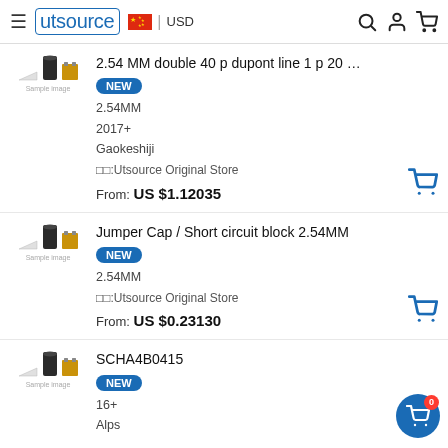utsource | USD
2.54 MM double 40 p dupont line 1 p 20 ...
NEW
2.54MM
2017+
Gaokeshiji
□□:Utsource Original Store
From: US $1.12035
Jumper Cap / Short circuit block 2.54MM
NEW
2.54MM
□□:Utsource Original Store
From: US $0.23130
SCHA4B0415
NEW
16+
Alps